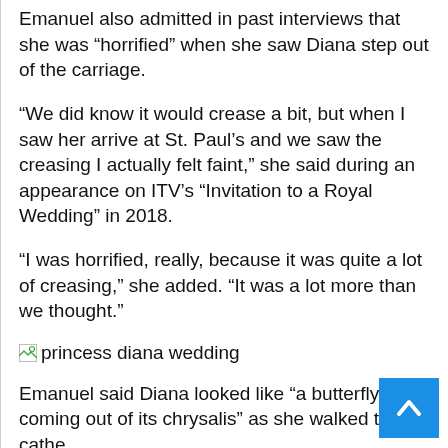Emanuel also admitted in past interviews that she was “horrified” when she saw Diana step out of the carriage.
“We did know it would crease a bit, but when I saw her arrive at St. Paul’s and we saw the creasing I actually felt faint,” she said during an appearance on ITV’s “Invitation to a Royal Wedding” in 2018.
“I was horrified, really, because it was quite a lot of creasing,” she added. “It was a lot more than we thought.”
[Figure (photo): Image placeholder for princess diana wedding photo]
Emanuel said Diana looked like “a butterfly coming out of its chrysalis” as she walked to the cathe
Popperfoto via Getty Images